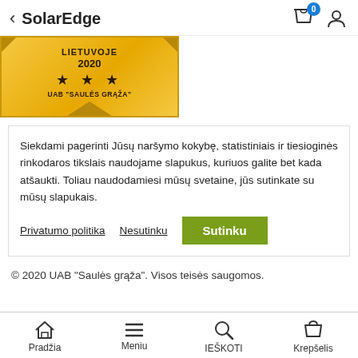SolarEdge
[Figure (other): Gold award badge with text 'LIETUVOJE 2020' and three stars and 'UAB "SAULES GRAZA"']
Siekdami pagerinti Jūsų naršymo kokybę, statistiniais ir tiesioginės rinkodaros tikslais naudojame slapukus, kuriuos galite bet kada atšaukti. Toliau naudodamiesi mūsų svetaine, jūs sutinkate su mūsų slapukais.
Privatumo politika   Nesutinku   Sutinku
© 2020 UAB "Saulės grąža". Visos teisės saugomos.
Pradžia   Meniu   IEŠKOTI   Krepšelis